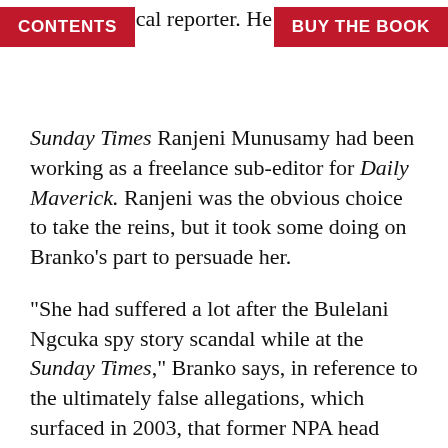CONTENTS | BUY THE BOOK
senior political reporter. He knew who he mer political journalist Sunday Times Ranjeni Munusamy had been working as a freelance sub-editor for Daily Maverick. Ranjeni was the obvious choice to take the reins, but it took some doing on Branko’s part to persuade her.
“She had suffered a lot after the Bulelani Ngcuka spy story scandal while at the Sunday Times,” Branko says, in reference to the ultimately false allegations, which surfaced in 2003, that former NPA head Ngcuka had been an apartheid informant. The fallout from the story, Ranjeni would later write in a candid Daily Maverick column, had “banished [her] to the fringes of society” and saw her take up work